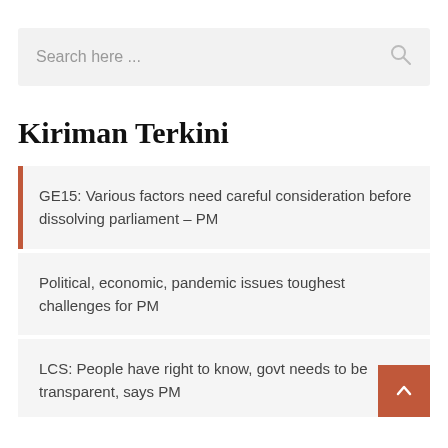[Figure (screenshot): Search bar with placeholder text 'Search here ...' and a search icon on the right]
Kiriman Terkini
GE15: Various factors need careful consideration before dissolving parliament – PM
Political, economic, pandemic issues toughest challenges for PM
LCS: People have right to know, govt needs to be transparent, says PM